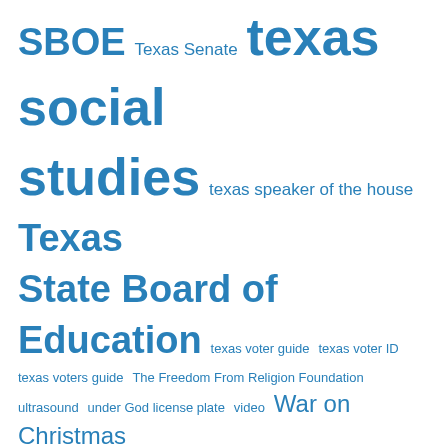SBOE Texas Senate texas social studies texas speaker of the house Texas State Board of Education texas voter guide texas voter ID texas voters guide The Freedom From Religion Foundation ultrasound under God license plate video War on Christmas
Archives
Select Month
Suggested Sites
Don't Tear Us Down
Free Voters Guide